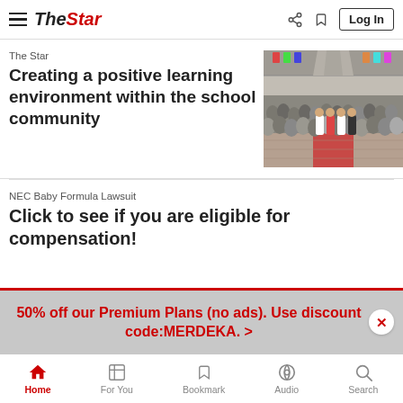The Star — Log In
The Star
Creating a positive learning environment within the school community
[Figure (photo): Crowd of students and teachers gathered in a large school hall for assembly, viewed from the front]
NEC Baby Formula Lawsuit
Click to see if you are eligible for compensation!
50% off our Premium Plans (no ads).  Use discount code:MERDEKA. >
Home   For You   Bookmark   Audio   Search